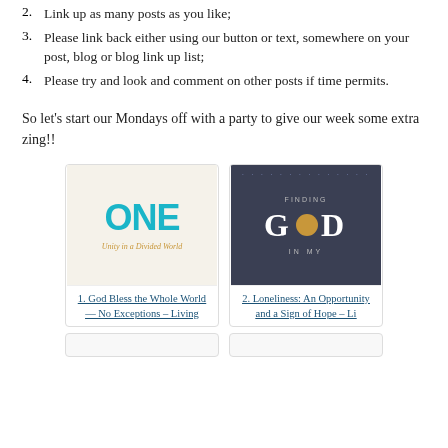2. Link up as many posts as you like;
3. Please link back either using our button or text, somewhere on your post, blog or blog link up list;
4. Please try and look and comment on other posts if time permits.
So let's start our Mondays off with a party to give our week some extra zing!!
[Figure (illustration): Book cover for 'ONE: Unity in a Divided World' with large teal ONE text and subtitle in script]
1. God Bless the Whole World — No Exceptions – Living
[Figure (illustration): Book cover for 'Finding GOD in My...' with dark navy background, stars, and gold circle in letter O]
2. Loneliness: An Opportunity and a Sign of Hope – Li